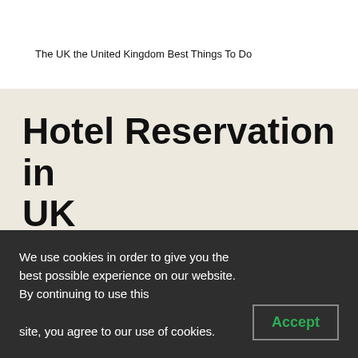The UK the United Kingdom Best Things To Do
Hotel Reservation in UK
We use cookies in order to give you the best possible experience on our website. By continuing to use this site, you agree to our use of cookies.